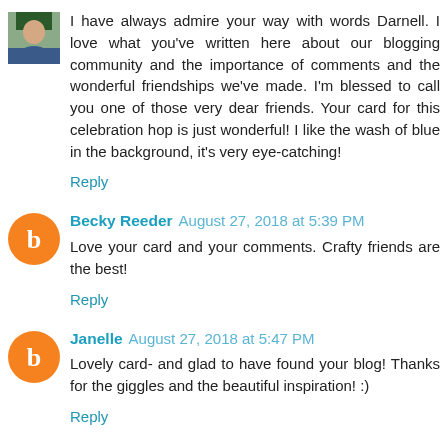[Figure (photo): Small square avatar photo of a person in the top-left corner]
I have always admire your way with words Darnell. I love what you've written here about our blogging community and the importance of comments and the wonderful friendships we've made. I'm blessed to call you one of those very dear friends. Your card for this celebration hop is just wonderful! I like the wash of blue in the background, it's very eye-catching!
Reply
Becky Reeder  August 27, 2018 at 5:39 PM
Love your card and your comments. Crafty friends are the best!
Reply
Janelle  August 27, 2018 at 5:47 PM
Lovely card- and glad to have found your blog! Thanks for the giggles and the beautiful inspiration! :)
Reply